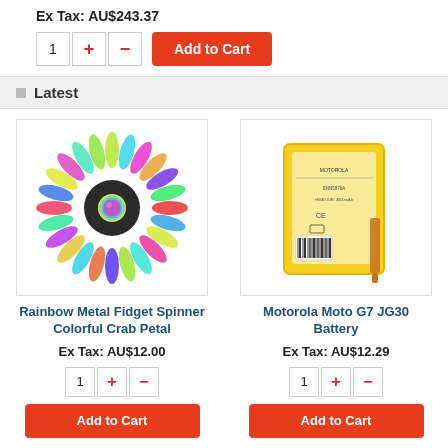Ex Tax: AU$243.37
[Figure (screenshot): Quantity selector with + and - buttons, and Add to Cart button]
Latest
[Figure (photo): Rainbow Metal Fidget Spinner Colorful Crab Petal product image]
Rainbow Metal Fidget Spinner Colorful Crab Petal
Ex Tax: AU$12.00
[Figure (photo): Motorola Moto G7 JG30 Battery product image]
Motorola Moto G7 JG30 Battery
Ex Tax: AU$12.29